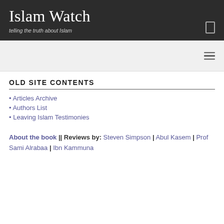Islam Watch
telling the truth about Islam
OLD SITE CONTENTS
• Articles Archive
• Authors List
• Leaving Islam Testimonies
About the book || Reviews by: Steven Simpson | Abul Kasem | Prof Sami Alrabaa | Ibn Kammuna